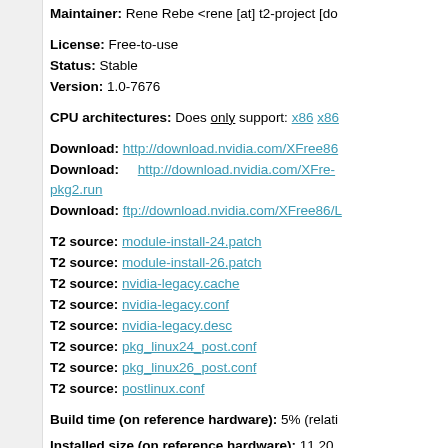Maintainer: Rene Rebe <rene [at] t2-project [do
License: Free-to-use
Status: Stable
Version: 1.0-7676
CPU architectures: Does only support: x86 x86
Download: http://download.nvidia.com/XFree86
Download:     http://download.nvidia.com/XFre- pkg2.run
Download: ftp://download.nvidia.com/XFree86/L
T2 source: module-install-24.patch
T2 source: module-install-26.patch
T2 source: nvidia-legacy.cache
T2 source: nvidia-legacy.conf
T2 source: nvidia-legacy.desc
T2 source: pkg_linux24_post.conf
T2 source: pkg_linux26_post.conf
T2 source: postlinux.conf
Build time (on reference hardware): 5% (relati
Installed size (on reference hardware): 11.20
Dependencies (build time detected): bash.co